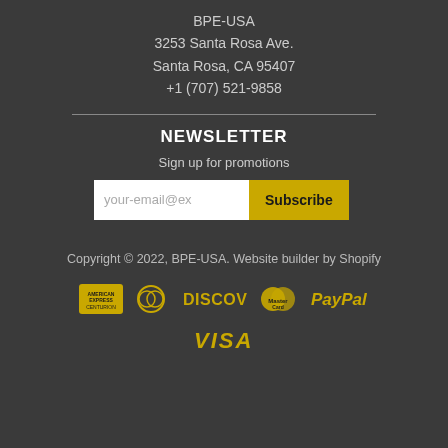BPE-USA
3253 Santa Rosa Ave.
Santa Rosa, CA 95407
+1 (707) 521-9858
NEWSLETTER
Sign up for promotions
your-email@ex
Subscribe
Copyright © 2022, BPE-USA. Website builder by Shopify
[Figure (other): Payment method icons: American Express, Diners Club, Discover, MasterCard, PayPal, Visa — all rendered in yellow/gold color on dark background]